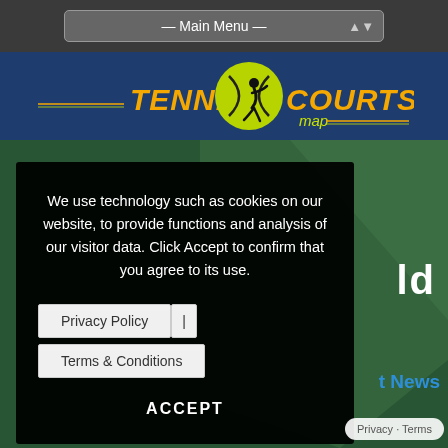— Main Menu —
[Figure (logo): Tennis Courts Map logo with tennis ball graphic, orange text TENNIS and COURTS, yellow-green text map]
[Figure (photo): Green tennis court surface background with partial text visible behind cookie consent popup]
We use technology such as cookies on our website, to provide functions and analysis of our visitor data. Click Accept to confirm that you agree to its use.
Privacy Policy | Terms & Conditions
ACCEPT
Privacy · Terms